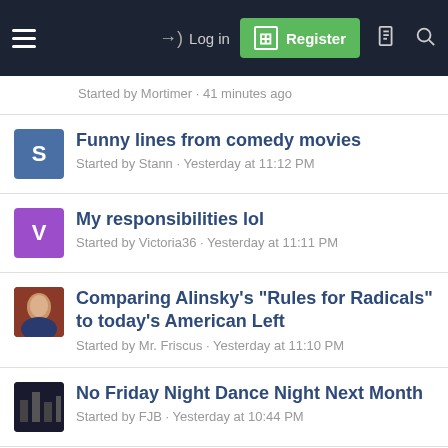Log in | Register
Started by Mortimer · 41 minutes ago
Funny lines from comedy movies
Started by Stann · Yesterday at 11:12 PM
My responsibilities lol
Started by Victoria36 · Yesterday at 11:11 PM
Comparing Alinsky's "Rules for Radicals" to today's American Left
Started by Mr. Friscus · Yesterday at 11:10 PM
No Friday Night Dance Night Next Month
Started by FJB · Yesterday at 10:44 PM
Should Government workers have to be "loyal" b...
Forums | What's New | Log In | Register | Search